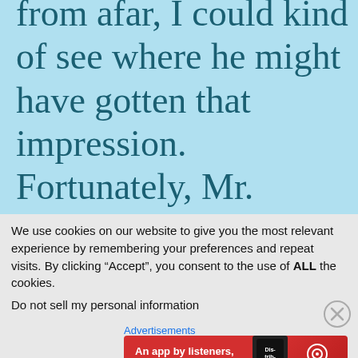from afar, I could kind of see where he might have gotten that impression. Fortunately, Mr. Obama survived
We use cookies on our website to give you the most relevant experience by remembering your preferences and repeat visits. By clicking “Accept”, you consent to the use of ALL the cookies.
Do not sell my personal information
[Figure (infographic): Pocket Casts advertisement banner: red background with text 'An app by listeners, for listeners.' and Pocket Casts logo, with phone image showing 'Distributed' text]